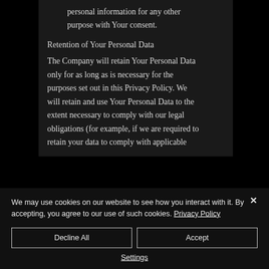personal information for any other purpose with Your consent.
Retention of Your Personal Data
The Company will retain Your Personal Data only for as long as is necessary for the purposes set out in this Privacy Policy. We will retain and use Your Personal Data to the extent necessary to comply with our legal obligations (for example, if we are required to retain your data to comply with applicable
We may use cookies on our website to see how you interact with it. By accepting, you agree to our use of such cookies. Privacy Policy
Decline All
Accept
Settings